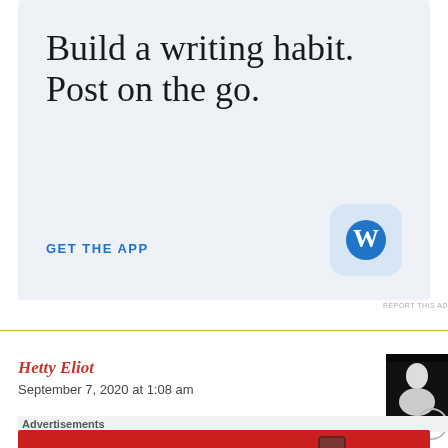[Figure (screenshot): WordPress app advertisement with light blue background. Large serif text reads 'Build a writing habit. Post on the go.' Blue uppercase link text 'GET THE APP' and WordPress logo icon in rounded square at bottom right.]
REPORT THIS AD
Hetty Eliot
September 7, 2020 at 1:08 am
[Figure (photo): Small black and white avatar photo of a person's face]
Advertisements
[Figure (screenshot): Pocket Casts advertisement on red background. Text reads 'An app by listeners, for listeners.' with Pocket Casts logo and a smartphone showing the app.]